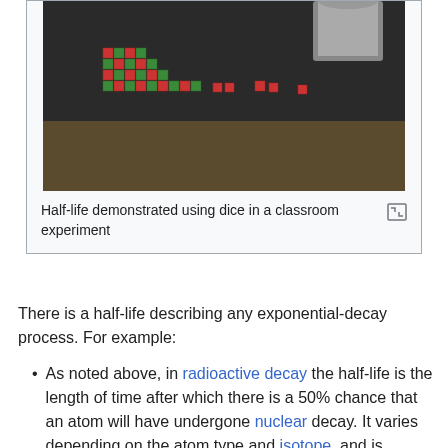[Figure (photo): Photo of colorful red and green dice arranged in a decreasing staircase pattern on a dark table surface, demonstrating half-life decay in a classroom experiment]
Half-life demonstrated using dice in a classroom experiment
There is a half-life describing any exponential-decay process. For example:
As noted above, in radioactive decay the half-life is the length of time after which there is a 50% chance that an atom will have undergone nuclear decay. It varies depending on the atom type and isotope, and is usually determined experimentally. See List of nuclides.